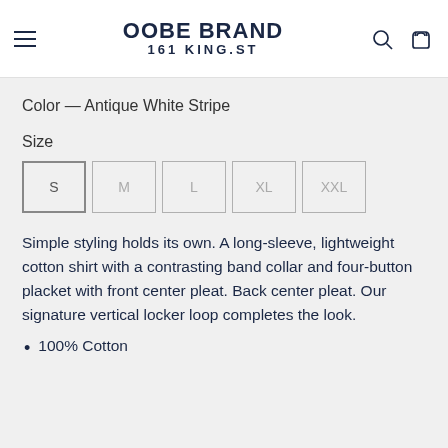OOBE BRAND 161 KING.ST
Color — Antique White Stripe
Size
S  M  L  XL  XXL
Simple styling holds its own. A long-sleeve, lightweight cotton shirt with a contrasting band collar and four-button placket with front center pleat. Back center pleat. Our signature vertical locker loop completes the look.
100% Cotton